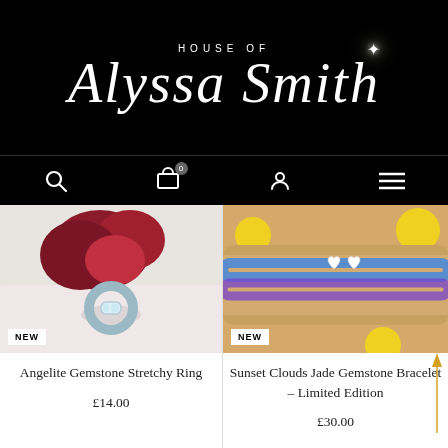HOUSE OF Alyssa Smith
[Figure (photo): Angelite Gemstone Stretchy Ring on white surface with red flowers background. NEW badge.]
[Figure (photo): Sunset Clouds Jade Gemstone Bracelet on wrist with yellow flowers background. NEW badge.]
Angelite Gemstone Stretchy Ring
£14.00
Sunset Clouds Jade Gemstone Bracelet – Limited Edition
£30.00